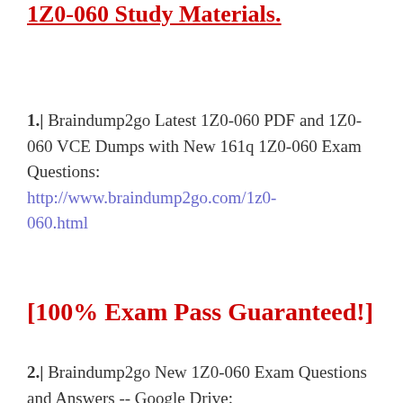1Z0-060 Study Materials.
1.| Braindump2go Latest 1Z0-060 PDF and 1Z0-060 VCE Dumps with New 161q 1Z0-060 Exam Questions: http://www.braindump2go.com/1z0-060.html
[100% Exam Pass Guaranteed!]
2.| Braindump2go New 1Z0-060 Exam Questions and Answers -- Google Drive: